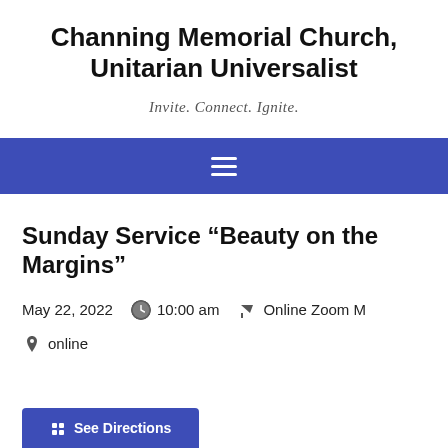Channing Memorial Church, Unitarian Universalist
Invite. Connect. Ignite.
[Figure (other): Navigation bar with hamburger menu icon on blue/indigo background]
Sunday Service “Beauty on the Margins”
May 22, 2022   10:00 am   Online Zoom M
online